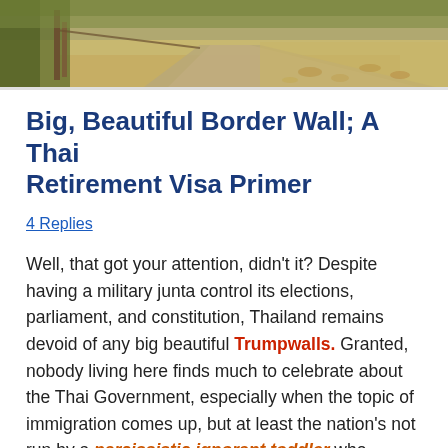[Figure (photo): Outdoor photo of a dirt road with vegetation on the sides, dry leaves on the ground, and wooden posts visible on the left.]
Big, Beautiful Border Wall; A Thai Retirement Visa Primer
4 Replies
Well, that got your attention, didn't it? Despite having a military junta control its elections, parliament, and constitution, Thailand remains devoid of any big beautiful Trumpwalls. Granted, nobody living here finds much to celebrate about the Thai Government, especially when the topic of immigration comes up, but at least the nation's not run by a narcissistic ignorant toddler who spends his days detaining despondent Burmese women at the border and separating them from their children. Possibly the world